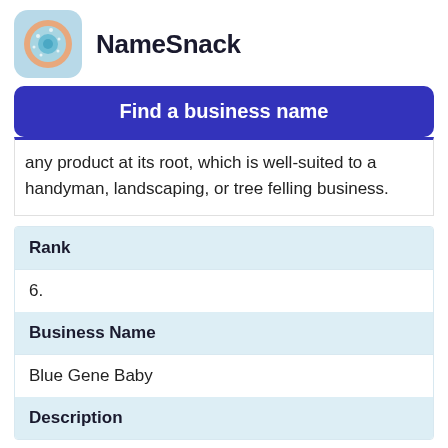NameSnack
Find a business name
any product at its root, which is well-suited to a handyman, landscaping, or tree felling business.
| Rank | Business Name | Description |
| --- | --- | --- |
| 6. | Blue Gene Baby |  |